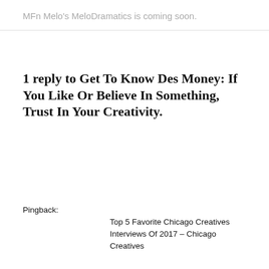MFn Melo's MeloDramatics is coming soon.
1 reply to Get To Know Des Money: If You Like Or Believe In Something, Trust In Your Creativity.
Pingback: Top 5 Favorite Chicago Creatives Interviews Of 2017 – Chicago Creatives